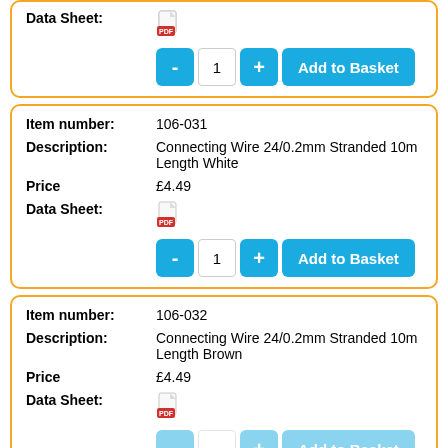Data Sheet: [pdf icon]
- 1 + Add to Basket
Item number: 106-031
Description: Connecting Wire 24/0.2mm Stranded 10m Length White
Price £4.49
Data Sheet: [pdf icon]
- 1 + Add to Basket
Item number: 106-032
Description: Connecting Wire 24/0.2mm Stranded 10m Length Brown
Price £4.49
Data Sheet: [pdf icon]